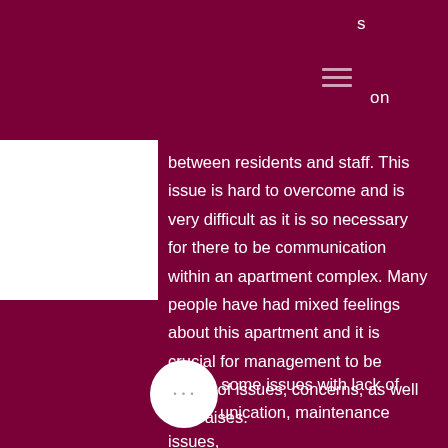s on
between residents and staff. This issue is hard to overcome and is very difficult as it is so necessary for there to be communication within an apartment complex. Many people have had mixed feelings about this apartment and it is crucial for management to be aware of issues, concerns, as well as praises.
Due to some issues with lack of communication, maintenance issues, and parking, the reviews have dropped